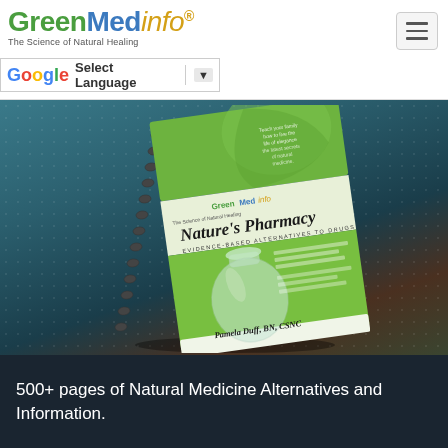GreenMedInfo - The Science of Natural Healing
[Figure (logo): GreenMedInfo logo with tagline 'The Science of Natural Healing']
[Figure (screenshot): Google Translate Select Language dropdown bar]
[Figure (photo): Book cover: Nature's Pharmacy - Evidence-Based Alternatives to Drugs by Pamela Duff, BN, CSNC. Spiral-bound book with green cover featuring a glass bottle/flask, displayed at an angle against a rainy background.]
500+ pages of Natural Medicine Alternatives and Information.